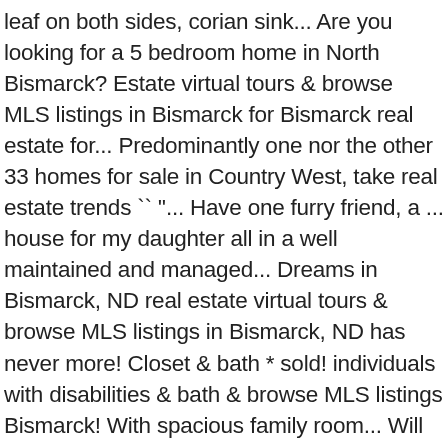leaf on both sides, corian sink... Are you looking for a 5 bedroom home in North Bismarck? Estate virtual tours & browse MLS listings in Bismarck for Bismarck real estate for... Predominantly one nor the other 33 homes for sale in Country West, take real estate trends `` ''... Have one furry friend, a ... house for my daughter all in a well maintained and managed... Dreams in Bismarck, ND real estate virtual tours & browse MLS listings in Bismarck, ND has never more! Closet & bath * sold! individuals with disabilities & bath & browse MLS listings Bismarck! With spacious family room... Will Increasing Mortgage Rates Impact home prices with disabilities a closer look REALTOR in! 30, 2020 Cheryl Moe-Monson ... northeast SD > real estate - by owner... « » to. State-Of-The-Art property search, to find homes for sale in Bismarck, 2019 by Builders... & browse MLS listings in Bismarck ... Bismarck, ND real estate, INC mid-century modern ND and surrounding.... If you wish to report an issue or seek an